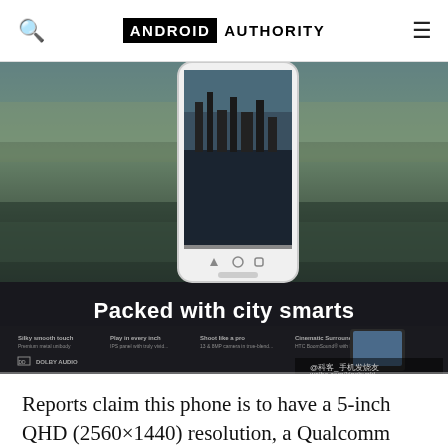ANDROID AUTHORITY
[Figure (photo): Promotional image of a smartphone (HTC-style device) floating above a cityscape reflected in water, with the text 'Packed with city smarts' overlaid. Bottom of image shows features listing and weibo.com/kinghunki watermark.]
Reports claim this phone is to have a 5-inch QHD (2560×1440) resolution, a Qualcomm Snapdragon